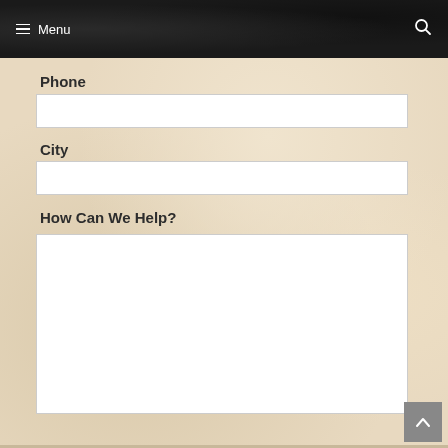Menu
Phone
City
How Can We Help?